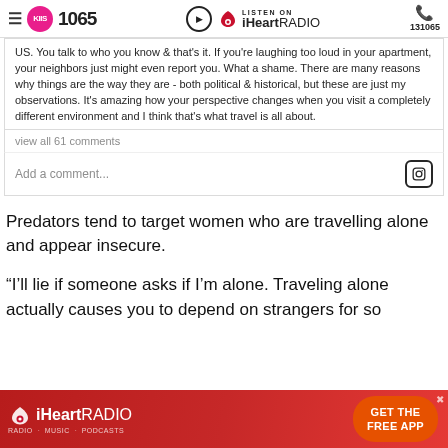KIIS 1065 | Listen on iHeartRadio | 131065
US. You talk to who you know & that's it. If you're laughing too loud in your apartment, your neighbors just might even report you. What a shame. There are many reasons why things are the way they are - both political & historical, but these are just my observations. It's amazing how your perspective changes when you visit a completely different environment and I think that's what travel is all about.
view all 61 comments
Add a comment...
Predators tend to target women who are travelling alone and appear insecure.
“I’ll lie if someone asks if I’m alone. Traveling alone actually causes you to depend on strangers for so
[Figure (logo): iHeartRadio advertisement banner with GET THE FREE APP button]